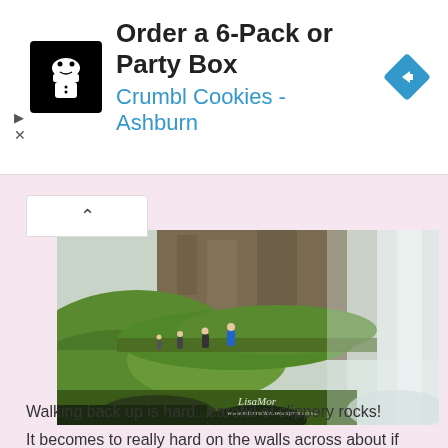[Figure (screenshot): Advertisement banner for Crumbl Cookies - Ashburn with cookie chef logo icon on black background, navigation arrow icon, title 'Order a 6-Pack or Party Box' and subtitle 'Crumbl Cookies - Ashburn' in blue]
[Figure (photo): Waterfall photo with green moss-covered rocks, a narrow path behind the waterfall with hikers, misty spray, rocky cliff face, and a watermark reading 'LisaMor' and 'www.misnration.wordpress.com']
Walking back up is hard...careful of slippery rocks!
It becomes to really hard on the walls across about if